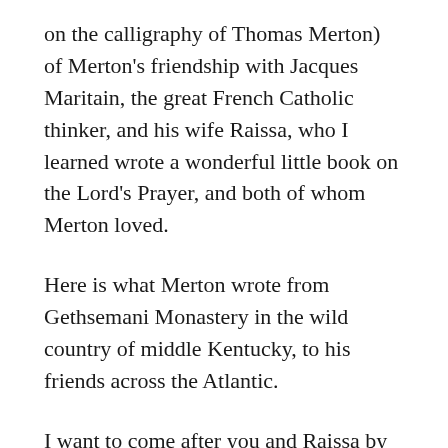on the calligraphy of Thomas Merton) of Merton's friendship with Jacques Maritain, the great French Catholic thinker, and his wife Raissa, who I learned wrote a wonderful little book on the Lord's Prayer, and both of whom Merton loved.
Here is what Merton wrote from Gethsemani Monastery in the wild country of middle Kentucky, to his friends across the Atlantic.
I want to come after you and Raissa by the road you have taken, since our journey is in common, though we are very much alone. How good it is to have seen His play in the friendships and influences that brought us all together in this world and this...